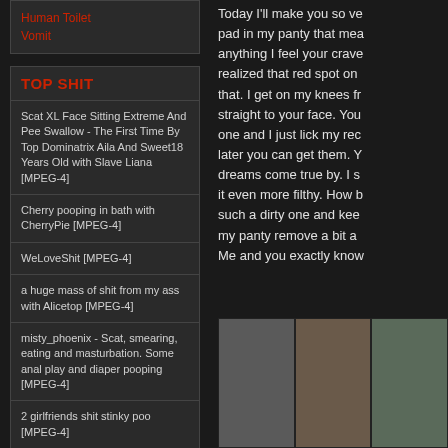Human Toilet
Vomit
TOP SHIT
Scat XL Face Sitting Extreme And Pee Swallow - The First Time By Top Dominatrix Aila And Sweet18 Years Old with Slave Liana [MPEG-4]
Cherry pooping in bath with CherryPie  [MPEG-4]
WeLoveShit [MPEG-4]
a huge mass of shit from my ass with Alicetop [MPEG-4]
misty_phoenix - Scat, smearing, eating and masturbation. Some anal play and diaper pooping [MPEG-4]
2 girlfriends shit stinky poo [MPEG-4]
Today I'll make you so ve... pad in my panty that mea... anything I feel your crave... realized that red spot on... that. I get on my knees fr... straight to your face. You... one and I just lick my rec... later you can get them. Y... dreams come true by. I s... it even more filthy. How b... such a dirty one and kee... my panty remove a bit a... Me and you exactly know...
[Figure (photo): Photo grid showing three images]